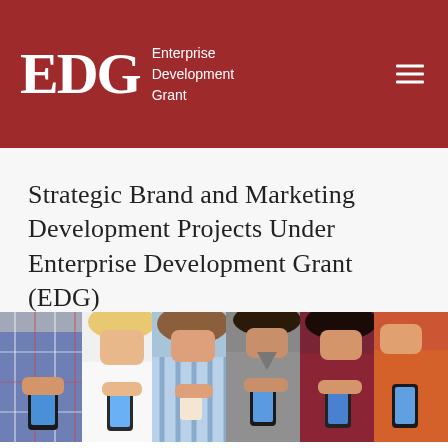EDG Enterprise Development Grant
Strategic Brand and Marketing Development Projects Under Enterprise Development Grant (EDG)
[Figure (photo): A row of young people standing side by side, each holding and looking at smartphones. From left to right: a person in a plaid shirt, a woman in white top, a woman in striped shirt holding a drink, a man in a grey t-shirt, a woman in burgundy t-shirt, and a partially visible person in orange or red on the far right.]